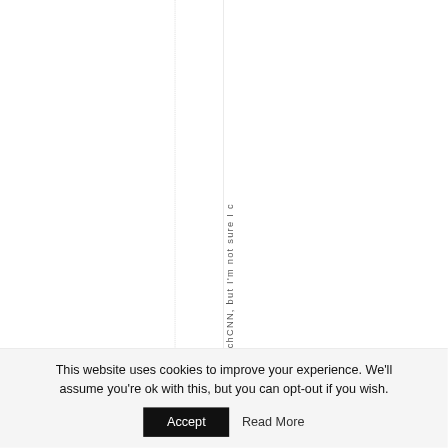watchCNN, but I'm not sure I c...
This website uses cookies to improve your experience. We'll assume you're ok with this, but you can opt-out if you wish.